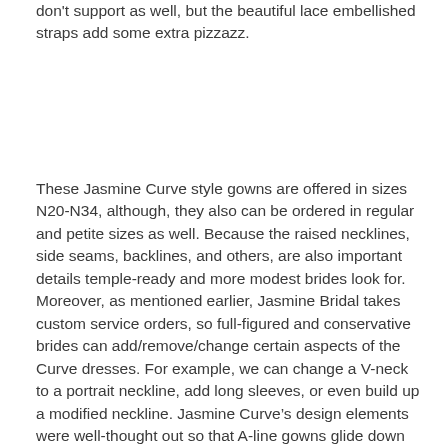don't support as well, but the beautiful lace embellished straps add some extra pizzazz.
These Jasmine Curve style gowns are offered in sizes N20-N34, although, they also can be ordered in regular and petite sizes as well. Because the raised necklines, side seams, backlines, and others, are also important details temple-ready and more modest brides look for. Moreover, as mentioned earlier, Jasmine Bridal takes custom service orders, so full-figured and conservative brides can add/remove/change certain aspects of the Curve dresses. For example, we can change a V-neck to a portrait neckline, add long sleeves, or even build up a modified neckline. Jasmine Curve's design elements were well-thought out so that A-line gowns glide down the hips without creating more